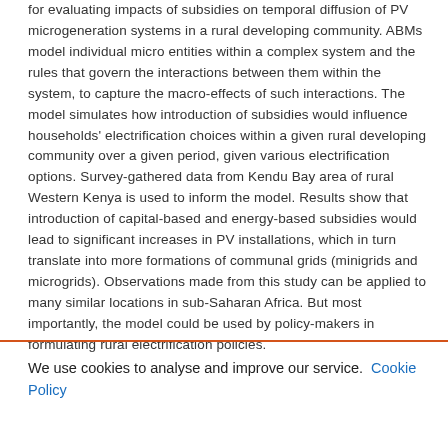for evaluating impacts of subsidies on temporal diffusion of PV microgeneration systems in a rural developing community. ABMs model individual micro entities within a complex system and the rules that govern the interactions between them within the system, to capture the macro-effects of such interactions. The model simulates how introduction of subsidies would influence households' electrification choices within a given rural developing community over a given period, given various electrification options. Survey-gathered data from Kendu Bay area of rural Western Kenya is used to inform the model. Results show that introduction of capital-based and energy-based subsidies would lead to significant increases in PV installations, which in turn translate into more formations of communal grids (minigrids and microgrids). Observations made from this study can be applied to many similar locations in sub-Saharan Africa. But most importantly, the model could be used by policy-makers in formulating rural electrification policies.
We use cookies to analyse and improve our service. Cookie Policy